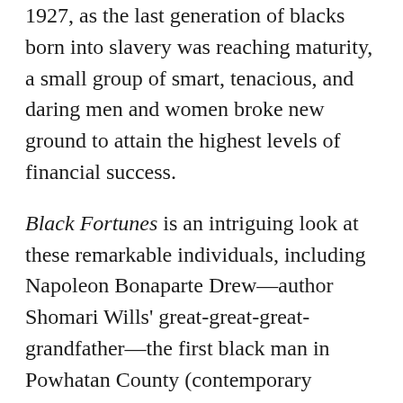1927, as the last generation of blacks born into slavery was reaching maturity, a small group of smart, tenacious, and daring men and women broke new ground to attain the highest levels of financial success.
Black Fortunes is an intriguing look at these remarkable individuals, including Napoleon Bonaparte Drew—author Shomari Wills' great-great-great-grandfather—the first black man in Powhatan County (contemporary Richmond) to own property in post-Civil War Virginia. His achievements were matched by five other unknown black